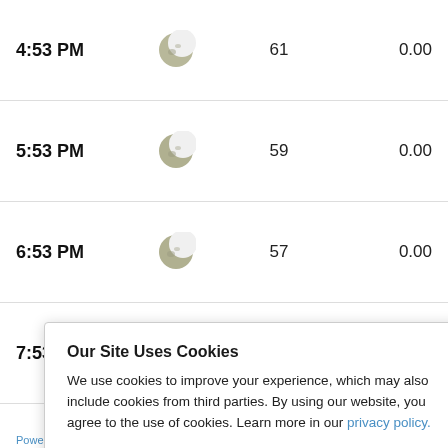| Time | Condition | Temp | Precip |
| --- | --- | --- | --- |
| 4:53 PM | [moon icon] | 61 | 0.00 |
| 5:53 PM | [moon icon] | 59 | 0.00 |
| 6:53 PM | [moon icon] | 57 | 0.00 |
| 7:53 PM | [moon icon] | 56 | 0.00 |
|  |  |  | 0.00 |
|  |  |  | 0.00 |
|  |  |  | 0.00 |
|  |  |  | 0.00 |
Our Site Uses Cookies
We use cookies to improve your experience, which may also include cookies from third parties. By using our website, you agree to the use of cookies. Learn more in our privacy policy.
ACCEPT & CLOSE